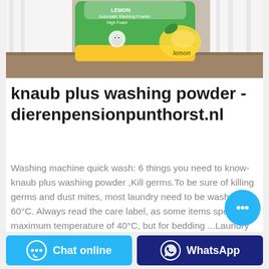[Figure (photo): Product photo of a green and yellow bag of Knaub Plus lemon washing powder on a wooden table surface with white curtains in background]
knaub plus washing powder - dierenpensionpunthorst.nl
Washing machine quick wash: 6 things you need to know- knaub plus washing powder ,Kill germs.To be sure of killing germs and dust mites, most laundry need to be washed at 60°C. Always read the care label, as some items specify a maximum temperature of 40°C, but for bedding ...Laundry and Laundry Sanitizing Products | Lysol®Laundry Lysol products EPA approved to kill SARS-CoV-2 on hard, non ...
Chat online
WhatsApp